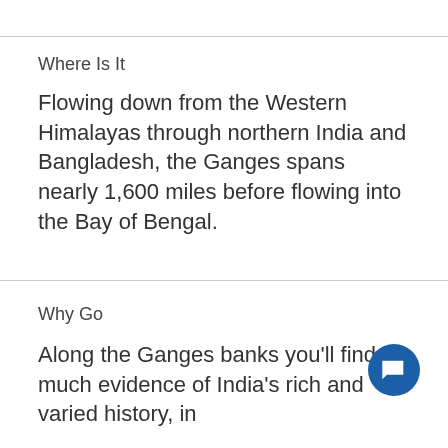Where Is It
Flowing down from the Western Himalayas through northern India and Bangladesh, the Ganges spans nearly 1,600 miles before flowing into the Bay of Bengal.
Why Go
Along the Ganges banks you'll find much evidence of India's rich and varied history, in